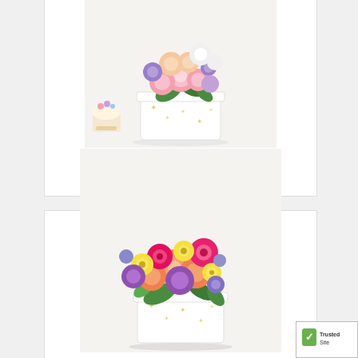[Figure (photo): Jubliee Bouquet Pastel - flower arrangement with pink and purple flowers in a white star-patterned box, with cupcakes visible on left side]
Jubliee™ Bouquet - Pastel
$59.99
[Figure (photo): Jubliee Bouquet - colorful flower arrangement with orange roses, yellow daisies, hot pink gerberas, purple flowers in a white star-patterned box]
Jubliee™ Bouquet -
[Figure (logo): TrustedSite badge with green checkmark]